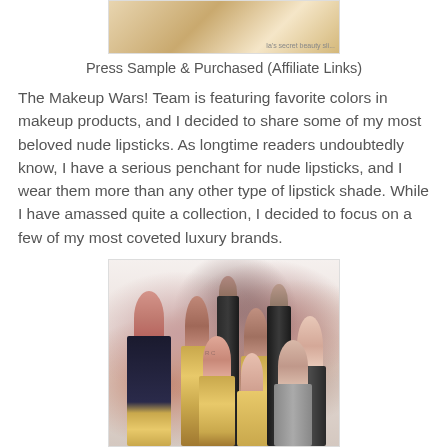[Figure (photo): Partial image at top showing what appears to be beauty/makeup products with gold accents, cropped at top of page]
Press Sample & Purchased (Affiliate Links)
The Makeup Wars! Team is featuring favorite colors in makeup products, and I decided to share some of my most beloved nude lipsticks. As longtime readers undoubtedly know, I have a serious penchant for nude lipsticks, and I wear them more than any other type of lipstick shade. While I have amassed quite a collection, I decided to focus on a few of my most coveted luxury brands.
[Figure (photo): Photo of multiple luxury nude lipsticks standing upright, showing various nude and pink shades with gold and black packaging including what appears to be Tom Ford and other luxury brand lipsticks]